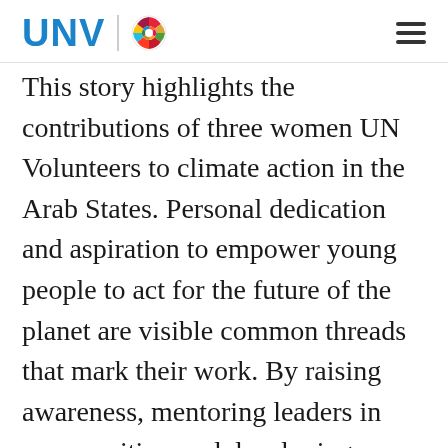UNV
This story highlights the contributions of three women UN Volunteers to climate action in the Arab States. Personal dedication and aspiration to empower young people to act for the future of the planet are visible common threads that mark their work. By raising awareness, mentoring leaders in communities, and developing activities that promote climate-resilient livelihoods; these volunteers are helping lead the way to a more sustainable future.